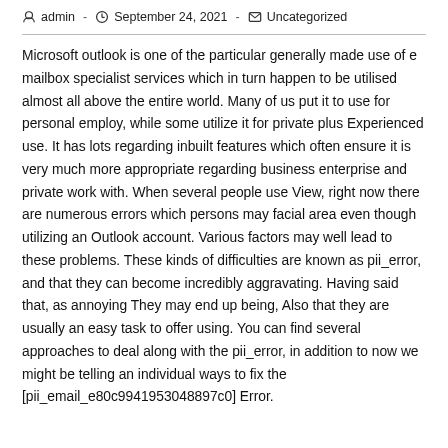admin - September 24, 2021 - Uncategorized
Microsoft outlook is one of the particular generally made use of e mailbox specialist services which in turn happen to be utilised almost all above the entire world. Many of us put it to use for personal employ, while some utilize it for private plus Experienced use. It has lots regarding inbuilt features which often ensure it is very much more appropriate regarding business enterprise and private work with. When several people use View, right now there are numerous errors which persons may facial area even though utilizing an Outlook account. Various factors may well lead to these problems. These kinds of difficulties are known as pii_error, and that they can become incredibly aggravating. Having said that, as annoying They may end up being, Also that they are usually an easy task to offer using. You can find several approaches to deal along with the pii_error, in addition to now we might be telling an individual ways to fix the [pii_email_e80c9941953048897c0] Error.